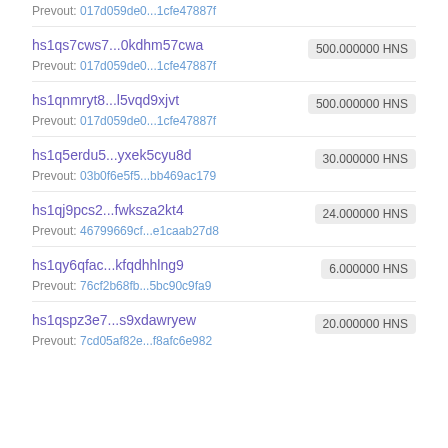Prevout: 017d059de0...1cfe47887f
hs1qs7cws7...0kdhm57cwa   500.000000 HNS
Prevout: 017d059de0...1cfe47887f
hs1qnmryt8...l5vqd9xjvt   500.000000 HNS
Prevout: 017d059de0...1cfe47887f
hs1q5erdu5...yxek5cyu8d   30.000000 HNS
Prevout: 03b0f6e5f5...bb469ac179
hs1qj9pcs2...fwksza2kt4   24.000000 HNS
Prevout: 46799669cf...e1caab27d8
hs1qy6qfac...kfqdhhlng9   6.000000 HNS
Prevout: 76cf2b68fb...5bc90c9fa9
hs1qspz3e7...s9xdawryew   20.000000 HNS
Prevout: 7cd05af82e...f8afc6e982